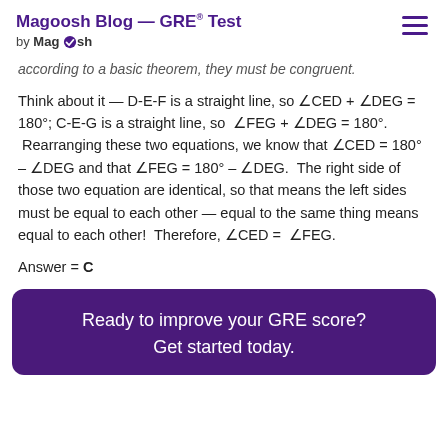Magoosh Blog — GRE® Test
by Magoosh
according to a basic theorem, they must be congruent.
Think about it — D-E-F is a straight line, so ∠CED + ∠DEG = 180°; C-E-G is a straight line, so ∠FEG + ∠DEG = 180°. Rearranging these two equations, we know that ∠CED = 180° – ∠DEG and that ∠FEG = 180° – ∠DEG. The right side of those two equation are identical, so that means the left sides must be equal to each other — equal to the same thing means equal to each other! Therefore, ∠CED = ∠FEG.
Answer = C
Ready to improve your GRE score?
Get started today.